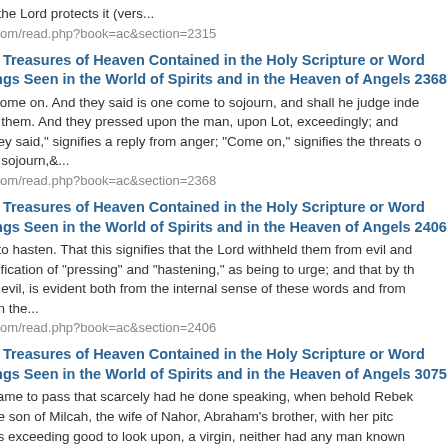t the Lord protects it (vers...
.com/read.php?book=ac&section=2315
n Treasures of Heaven Contained in the Holy Scripture or Word ings Seen in the World of Spirits and in the Heaven of Angels 2368
Come on. And they said is one come to sojourn, and shall he judge inde o them. And they pressed upon the man, upon Lot, exceedingly; and hey said," signifies a reply from anger; "Come on," signifies the threats c o sojourn,&...
.com/read.php?book=ac&section=2368
n Treasures of Heaven Contained in the Holy Scripture or Word ings Seen in the World of Spirits and in the Heaven of Angels 2406
t to hasten. That this signifies that the Lord withheld them from evil and nification of "pressing" and "hastening," as being to urge; and that by th n evil, is evident both from the internal sense of these words and from en the...
.com/read.php?book=ac&section=2406
n Treasures of Heaven Contained in the Holy Scripture or Word ings Seen in the World of Spirits and in the Heaven of Angels 3075
came to pass that scarcely had he done speaking, when behold Rebek ne son of Milcah, the wife of Nahor, Abraham's brother, with her pitc as exceeding good to look upon, a virgin, neither had any man known